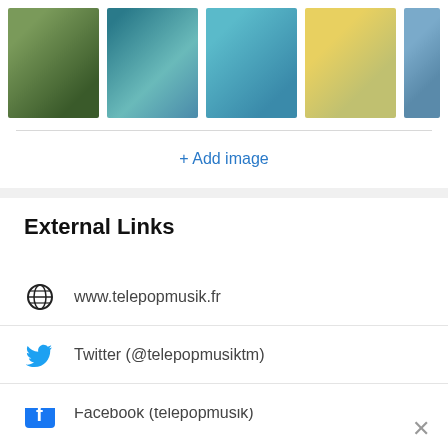[Figure (screenshot): Row of 5 music artist photos, partially cropped, showing musicians/band members in various outdoor and studio settings]
+ Add image
External Links
www.telepopmusik.fr
Twitter (@telepopmusiktm)
Facebook (telepopmusik)
SoundCloud